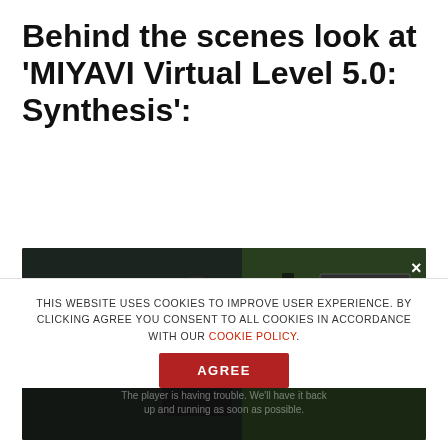Behind the scenes look at 'MIYAVI Virtual Level 5.0: Synthesis':
[Figure (screenshot): A darkened video player screenshot showing a person on a studio set with a green screen background. A 'SYNTHESIS' sign is visible in the upper right. A player error overlay reads 'Player error: The player is having trouble. We'll have it back up and running as soon as possible.']
THIS WEBSITE USES COOKIES TO IMPROVE USER EXPERIENCE. BY CLICKING AGREE YOU CONSENT TO ALL COOKIES IN ACCORDANCE WITH OUR COOKIE POLICY.
AGREE